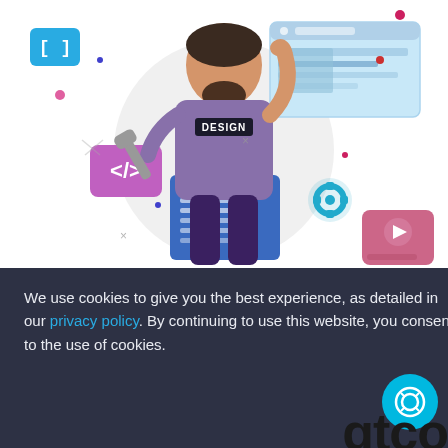[Figure (illustration): Cartoon illustration of a web developer/designer character with beard wearing a grey hoodie labeled DESIGN, holding a wrench in one hand and pointing upward with the other. Surrounding elements include: a blue bracket icon top-left, a pink/purple code tag </> icon, a blue document/code panel, a browser window mockup upper right, a blue gear icon, a pink video player icon, and various decorative dots and shapes on a white background.]
PREVIEW THIS DEMO
We use cookies to give you the best experience, as detailed in our privacy policy. By continuing to use this website, you consent to the use of cookies.